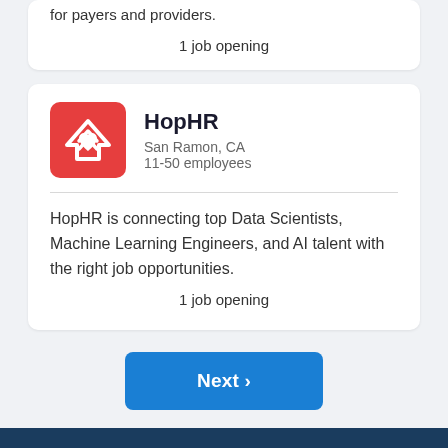for payers and providers.
1 job opening
HopHR
San Ramon, CA
11-50 employees
HopHR is connecting top Data Scientists, Machine Learning Engineers, and AI talent with the right job opportunities.
1 job opening
Next ›